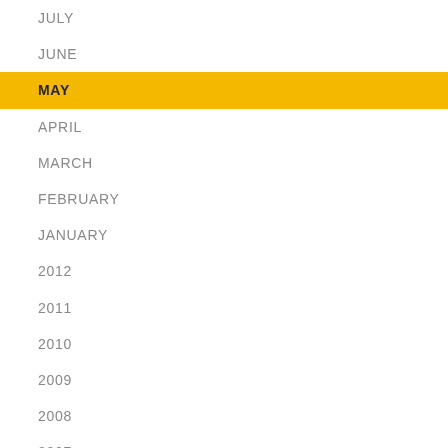JULY
JUNE
MAY
APRIL
MARCH
FEBRUARY
JANUARY
2012
2011
2010
2009
2008
2007
2006